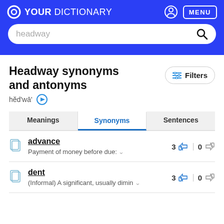YOUR DICTIONARY — headway (search)
Headway synonyms and antonyms
hĕd'wā'
Meanings | Synonyms | Sentences
advance — Payment of money before due: — 3 likes 0 dislikes
dent — (Informal) A significant, usually dimin — 3 likes 0 dislikes